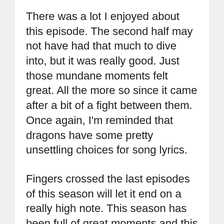There was a lot I enjoyed about this episode. The second half may not have had that much to dive into, but it was really good. Just those mundane moments felt great. All the more so since it came after a bit of a fight between them. Once again, I'm reminded that dragons have some pretty unsettling choices for song lyrics.
Fingers crossed the last episodes of this season will let it end on a really high note. This season has been full of great moments and this episode had plenty of good ones too. I'm not sure they can match Tohru's father taking his daughter away. That was a pretty powerful situation just for the important title of